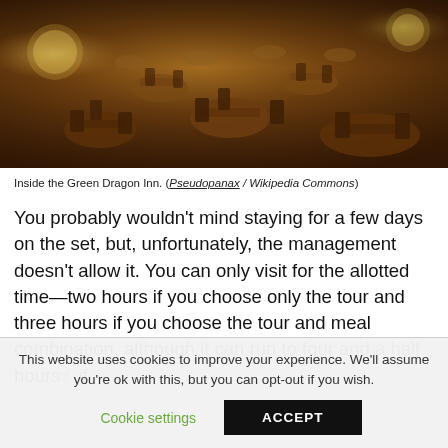[Figure (photo): Interior photograph of the Green Dragon Inn showing wooden tables, chairs, warm lighting, and hobbit-hole style round windows]
Inside the Green Dragon Inn. (Pseudopanax / Wikipedia Commons)
You probably wouldn't mind staying for a few days on the set, but, unfortunately, the management doesn't allow it. You can only visit for the allotted time—two hours if you choose only the tour and three hours if you choose the tour and meal combination, although it can run to four and a half hours if
This website uses cookies to improve your experience. We'll assume you're ok with this, but you can opt-out if you wish. Cookie settings ACCEPT